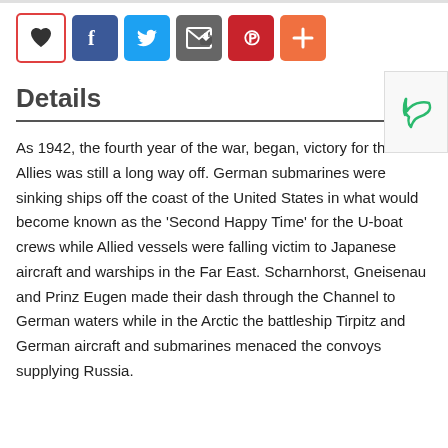[Figure (screenshot): Social sharing buttons: heart/favorite (red outline), Facebook (blue), Twitter (light blue), email/share (gray), Pinterest (red), more/plus (orange)]
Details
As 1942, the fourth year of the war, began, victory for the Allies was still a long way off. German submarines were sinking ships off the coast of the United States in what would become known as the 'Second Happy Time' for the U-boat crews while Allied vessels were falling victim to Japanese aircraft and warships in the Far East. Scharnhorst, Gneisenau and Prinz Eugen made their dash through the Channel to German waters while in the Arctic the battleship Tirpitz and German aircraft and submarines menaced the convoys supplying Russia.